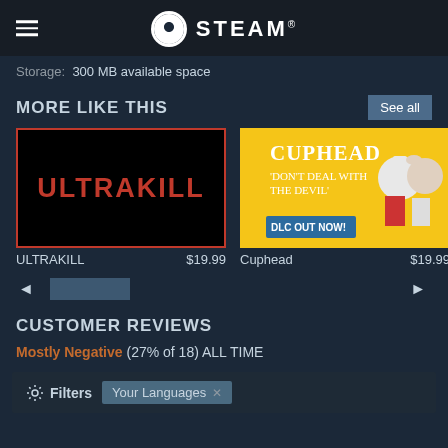STEAM®
Storage: 300 MB available space
MORE LIKE THIS
[Figure (screenshot): ULTRAKILL game logo - red text on black background with red border]
[Figure (screenshot): Cuphead game banner - yellow background with Cuphead and Mugman characters, text 'Don't Deal With The Devil', 'DLC OUT NOW!']
[Figure (screenshot): Partial game banner (Risk of Rain or similar) - partially visible]
ULTRAKILL $19.99
Cuphead $19.99
Risk
CUSTOMER REVIEWS
Mostly Negative (27% of 18) ALL TIME
Filters Your Languages